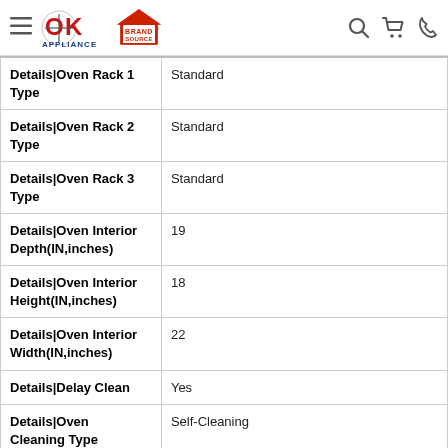OK Appliance BrandSource
| Attribute | Value |
| --- | --- |
| Details|Oven Rack 1 Type | Standard |
| Details|Oven Rack 2 Type | Standard |
| Details|Oven Rack 3 Type | Standard |
| Details|Oven Interior Depth(IN,inches) | 19 |
| Details|Oven Interior Height(IN,inches) | 18 |
| Details|Oven Interior Width(IN,inches) | 22 |
| Details|Delay Clean | Yes |
| Details|Oven Cleaning Type | Self-Cleaning |